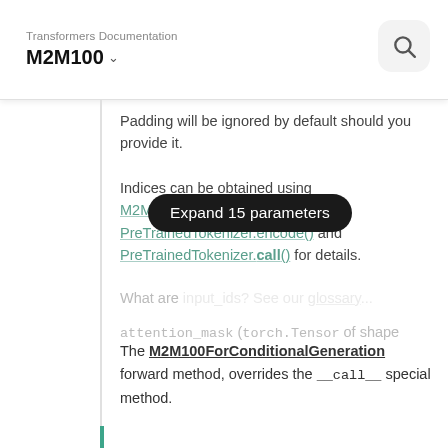Transformers Documentation
M2M100
Padding will be ignored by default should you provide it.
Indices can be obtained using M2M100Tokenizer. See PreTrainedTokenizer.encode() and PreTrainedTokenizer.call() for details.
What are... [obscured by Expand button]
attention_mask (torch.Tensor of shape [faded/obscured]
[Figure (other): Expand 15 parameters button overlay]
The M2M100ForConditionalGeneration forward method, overrides the __call__ special method.